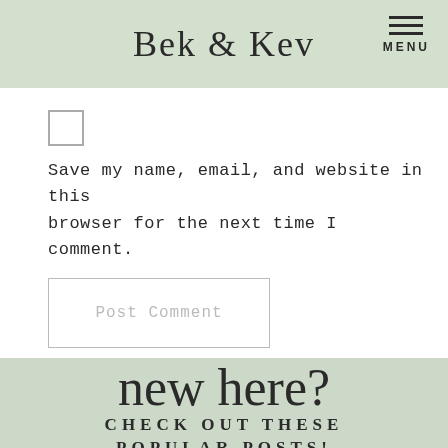Bek & Kev
Save my name, email, and website in this browser for the next time I comment.
Post Comment
new here?
CHECK OUT THESE POPULAR POSTS!